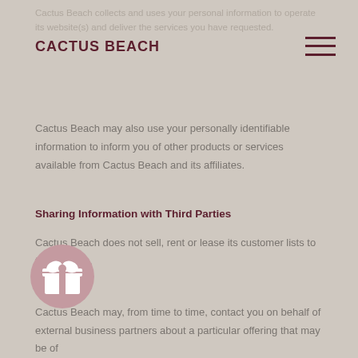Cactus Beach collects and uses your personal information to operate its website(s) and deliver the services you have requested.
CACTUS BEACH
Cactus Beach may also use your personally identifiable information to inform you of other products or services available from Cactus Beach and its affiliates.
Sharing Information with Third Parties
Cactus Beach does not sell, rent or lease its customer lists to third parties.
[Figure (illustration): A circular gift icon with pink/mauve background and white gift box symbol]
Cactus Beach may, from time to time, contact you on behalf of external business partners about a particular offering that may be of